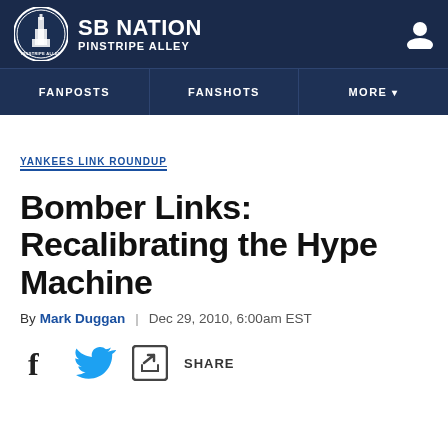SB NATION / PINSTRIPE ALLEY
YANKEES LINK ROUNDUP
Bomber Links: Recalibrating the Hype Machine
By Mark Duggan | Dec 29, 2010, 6:00am EST
[Figure (other): Social share buttons: Facebook, Twitter, and Share icons]